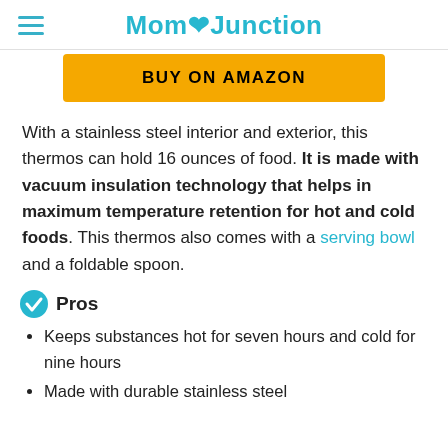MomJunction
[Figure (other): Yellow 'BUY ON AMAZON' button]
With a stainless steel interior and exterior, this thermos can hold 16 ounces of food. It is made with vacuum insulation technology that helps in maximum temperature retention for hot and cold foods. This thermos also comes with a serving bowl and a foldable spoon.
Pros
Keeps substances hot for seven hours and cold for nine hours
Made with durable stainless steel